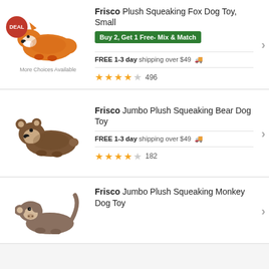[Figure (illustration): Orange plush fox toy lying flat with white accents, with a red DEAL badge in the top-left corner]
More Choices Available
Frisco Plush Squeaking Fox Dog Toy, Small
Buy 2, Get 1 Free- Mix & Match
FREE 1-3 day shipping over $49 🚚
★★★★☆ 496
[Figure (illustration): Brown plush bear toy lying flat with cream-colored face and ears]
Frisco Jumbo Plush Squeaking Bear Dog Toy
FREE 1-3 day shipping over $49 🚚
★★★★☆ 182
[Figure (illustration): Brown plush monkey toy lying flat with lighter face]
Frisco Jumbo Plush Squeaking Monkey Dog Toy